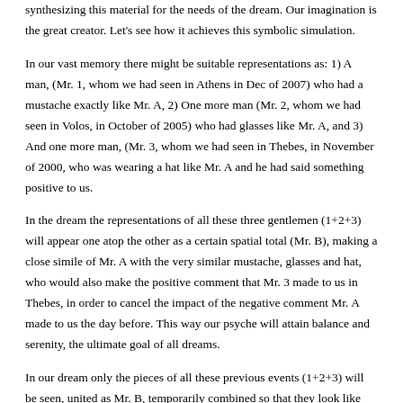synthesizing this material for the needs of the dream. Our imagination is the great creator. Let's see how it achieves this symbolic simulation.
In our vast memory there might be suitable representations as: 1) A man, (Mr. 1, whom we had seen in Athens in Dec of 2007) who had a mustache exactly like Mr. A, 2) One more man (Mr. 2, whom we had seen in Volos, in October of 2005) who had glasses like Mr. A, and 3) And one more man, (Mr. 3, whom we had seen in Thebes, in November of 2000, who was wearing a hat like Mr. A and he had said something positive to us.
In the dream the representations of all these three gentlemen (1+2+3) will appear one atop the other as a certain spatial total (Mr. B), making a close simile of Mr. A with the very similar mustache, glasses and hat, who would also make the positive comment that Mr. 3 made to us in Thebes, in order to cancel the impact of the negative comment Mr. A made to us the day before. This way our psyche will attain balance and serenity, the ultimate goal of all dreams.
In our dream only the pieces of all these previous events (1+2+3) will be seen, united as Mr. B, temporarily combined so that they look like Mr. A, who insulted us the day before. We will not see at all Mr. A from only yesterday.